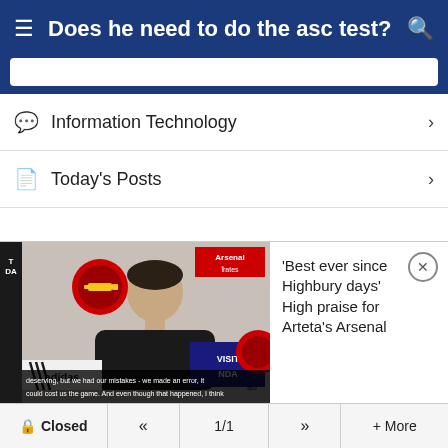Does he need to do the asc test?
Information Technology
Today's Posts
[Figure (screenshot): Video thumbnail showing Arsenal press conference with manager Mikel Arteta in front of Arsenal and Emirates branding. Subtitles read: 'deserving, but we had our mistakes - we made an error, it could cost us the game. And even though that happened, I think']
'Best ever since Highbury days' High praise for Arteta's Arsenal
Closed  «  1/1  »  + More